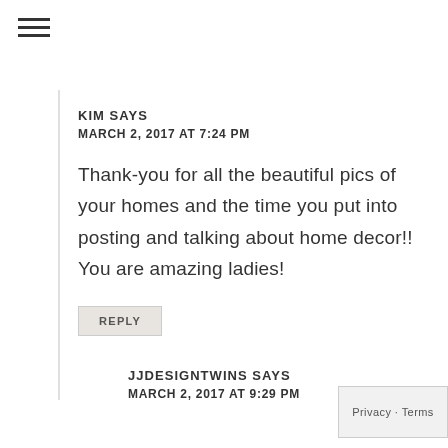☰
KIM SAYS
MARCH 2, 2017 AT 7:24 PM
Thank-you for all the beautiful pics of your homes and the time you put into posting and talking about home decor!! You are amazing ladies!
REPLY
JJDESIGNTWINS SAYS
MARCH 2, 2017 AT 9:29 PM